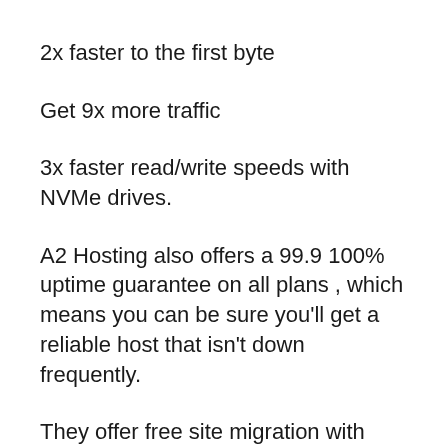2x faster to the first byte
Get 9x more traffic
3x faster read/write speeds with NVMe drives.
A2 Hosting also offers a 99.9 100% uptime guarantee on all plans , which means you can be sure you'll get a reliable host that isn't down frequently.
They offer free site migration with each plan, too. If your website is set up on a bad hosting provider and are looking to move to another host, this is a great deal. This will spare you hundreds of hours…